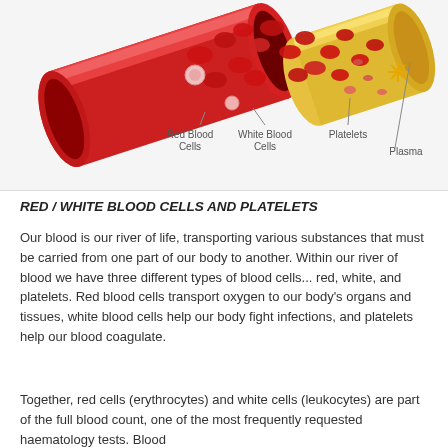[Figure (illustration): Illustration of a blood vessel (tube) showing red blood cells, white blood cells, platelets, and plasma. Labels point to each component: Red Blood Cells, White Blood Cells, Platelets, Plasma.]
RED / WHITE BLOOD CELLS AND PLATELETS
Our blood is our river of life, transporting various substances that must be carried from one part of our body to another. Within our river of blood we have three different types of blood cells... red, white, and platelets. Red blood cells transport oxygen to our body's organs and tissues, white blood cells help our body fight infections, and platelets help our blood coagulate.
Together, red cells (erythrocytes) and white cells (leukocytes) are part of the full blood count, one of the most frequently requested haematology tests. Blood